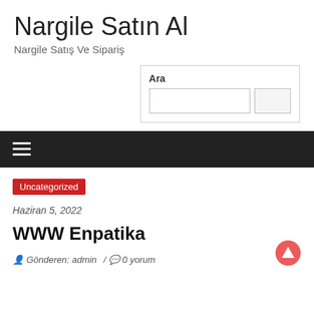Nargile Satın Al
Nargile Satış Ve Sipariş
[Figure (other): Search widget box with label 'Ara', a text input field, and a search button]
☰ navigation bar
Uncategorized
Haziran 5, 2022
WWW Enpatika
Gönderen: admin / 0 yorum